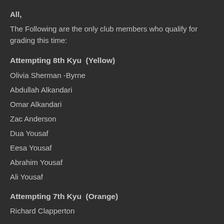All,
The Following are the only club members who qualify for grading this time:
Attempting 8th Kyu  (Yellow)
Olivia Sherman -Byrne
Abdullah Alkandari
Omar Alkandari
Zac Anderson
Dua Yousaf
Eesa Yousaf
Abrahim Yousaf
Ali Yousaf
Attempting 7th Kyu  (Orange)
Richard Clapperton